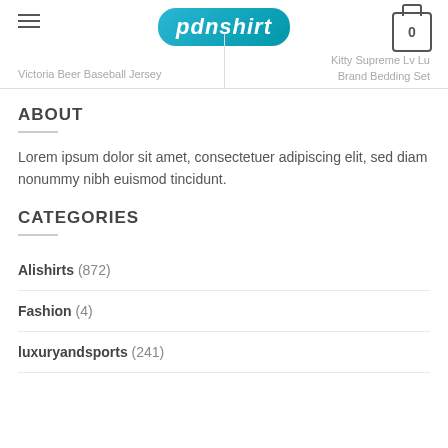pdnshirt — Victoria Beer Baseball Jersey | Kitty Supreme Lv Lu Brand Bedding Set | 0
ABOUT
Lorem ipsum dolor sit amet, consectetuer adipiscing elit, sed diam nonummy nibh euismod tincidunt.
CATEGORIES
Alishirts (872)
Fashion (4)
luxuryandsports (241)